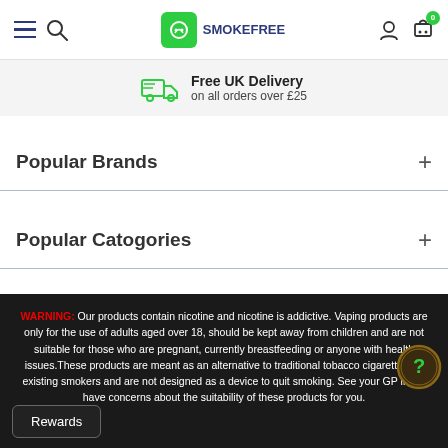Smoke Free — navigation header with hamburger menu, search, logo, user icon, cart (0)
Free UK Delivery on all orders over £25
Popular Brands +
Popular Catogories +
WARNING: Our products contain nicotine and nicotine is addictive. Vaping products are only for the use of adults aged over 18, should be kept away from children and are not suitable for those who are pregnant, currently breastfeeding or anyone with health issues. These products are meant as an alternative to traditional tobacco cigarettes for existing smokers and are not designed as a device to quit smoking. See your GP if you have concerns about the suitability of these products for you.
Rewards